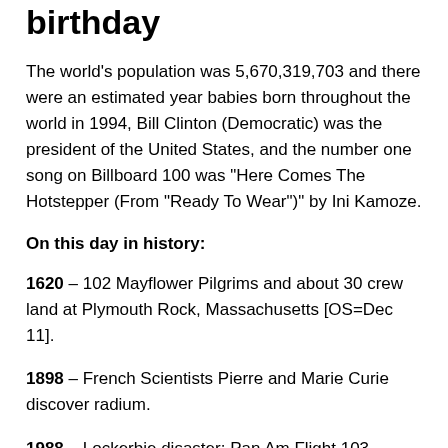birthday
The world's population was 5,670,319,703 and there were an estimated year babies born throughout the world in 1994, Bill Clinton (Democratic) was the president of the United States, and the number one song on Billboard 100 was "Here Comes The Hotstepper (From "Ready To Wear")" by Ini Kamoze.
On this day in history:
1620 – 102 Mayflower Pilgrims and about 30 crew land at Plymouth Rock, Massachusetts [OS=Dec 11].
1898 – French Scientists Pierre and Marie Curie discover radium.
1988 – Lockerbie disaster: Pan Am Flight 103 destroyed mid air by a terrorist bomb killing all 258 on board over Scotland